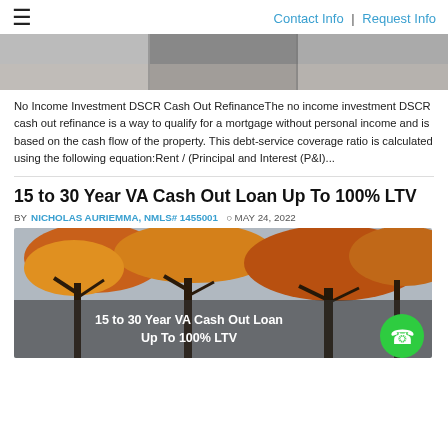≡   Contact Info | Request Info
[Figure (photo): Partial top image, cropped, showing people or hands related to mortgage/refinance topic]
No Income Investment DSCR Cash Out RefinanceThe no income investment DSCR cash out refinance is a way to qualify for a mortgage without personal income and is based on the cash flow of the property. This debt-service coverage ratio is calculated using the following equation:Rent / (Principal and Interest (P&I)...
15 to 30 Year VA Cash Out Loan Up To 100% LTV
BY NICHOLAS AURIEMMA, NMLS# 1455001  ⊙ MAY 24, 2022
[Figure (photo): Autumn trees with orange and yellow leaves against a grey sky, overlaid with text '15 to 30 Year VA Cash Out Loan Up To 100% LTV' and a green phone button in the lower right]